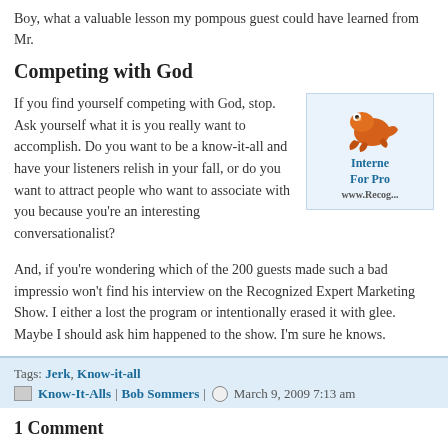Boy, what a valuable lesson my pompous guest could have learned from Mr.
Competing with God
If you find yourself competing with God, stop. Ask yourself what it is you really want to accomplish. Do you want to be a know-it-all and have your listeners relish in your fall, or do you want to attract people who want to associate with you because you're an interesting conversationalist?
[Figure (logo): Internet For Pro logo with orange frog graphic and text reading Internet For Pro www.Recog...]
And, if you're wondering which of the 200 guests made such a bad impression won't find his interview on the Recognized Expert Marketing Show. I either a lost the program or intentionally erased it with glee. Maybe I should ask him happened to the show. I'm sure he knows.
Tags: Jerk, Know-it-all
Know-It-Alls | Bob Sommers | March 9, 2009 7:13 am
1 Comment
By Aiyana, November 10, 2012 @ 8:22 am
I've been called a know-it-all before i was annoyed because it was true yet the person was so persistent that they were right about me a know-it-all they probably still carry that label of me with them aro everywhere.